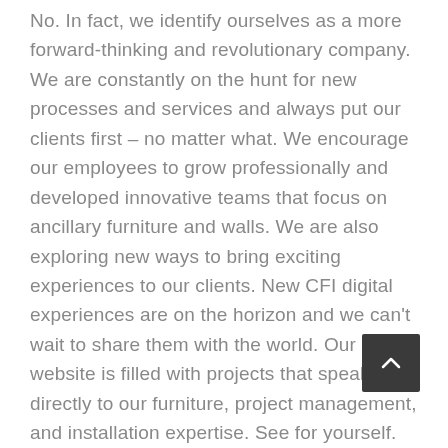No. In fact, we identify ourselves as a more forward-thinking and revolutionary company. We are constantly on the hunt for new processes and services and always put our clients first – no matter what. We encourage our employees to grow professionally and developed innovative teams that focus on ancillary furniture and walls. We are also exploring new ways to bring exciting experiences to our clients. New CFI digital experiences are on the horizon and we can't wait to share them with the world. Our new website is filled with projects that speak directly to our furniture, project management, and installation expertise. See for yourself. Explore our website and see what we're